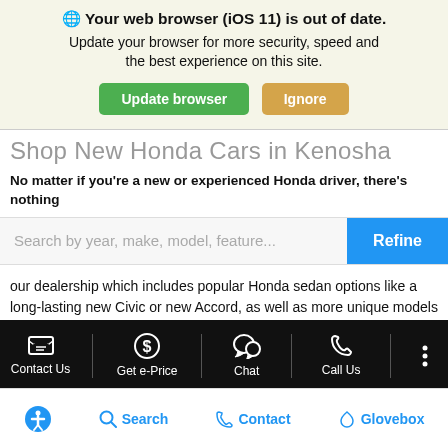🌐 Your web browser (iOS 11) is out of date. Update your browser for more security, speed and the best experience on this site. [Update browser] [Ignore]
Shop New Honda Cars in Kenosha
No matter if you're a new or experienced Honda driver, there's nothing
Search by year, make, model, feature...   [Refine]
our dealership which includes popular Honda sedan options like a long-lasting new Civic or new Accord, as well as more unique models that take your fuel savings to the next level like a stunning new Fit. See how you can find the right fit among our various Honda cars for sale at Honda of Kenosha and then be sure to stop by and see our inventory in person!
Contact Us  Get e-Price  Chat  Call Us  [more]
[accessibility] Search  Contact  Glovebox